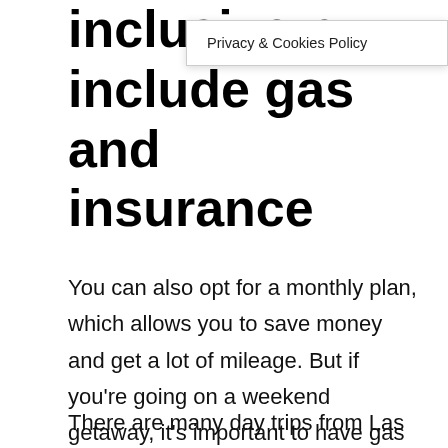inclusive p include gas and insurance
Privacy & Cookies Policy
You can also opt for a monthly plan, which allows you to save money and get a lot of mileage. But if you're going on a weekend getaway, it's important to have gas when you're visiting a big city. There are plenty of day trips from Las Vegas that you can take by car. Having a car in Las Vegas also allows you to take your time and choose your destinations.
There are many day trips from Las Vegas that